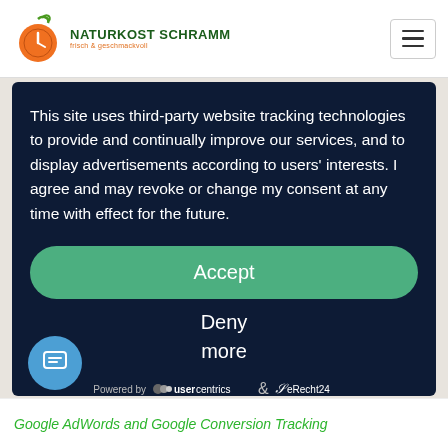NATURKOST SCHRAMM
This site uses third-party website tracking technologies to provide and continually improve our services, and to display advertisements according to users' interests. I agree and may revoke or change my consent at any time with effect for the future.
Accept
Deny
more
Powered by usercentrics & eRecht24
Google AdWords and Google Conversion Tracking